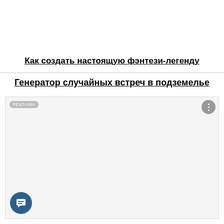Как создать настоящую фэнтези-легенду
Генератор случайных встреч в подземелье
[Figure (other): Advertisement box with РЕКЛАМА label and three-dot menu button in top corners, white/light gray content area]